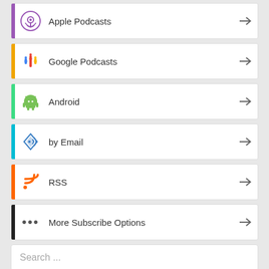Apple Podcasts
Google Podcasts
Android
by Email
RSS
More Subscribe Options
Search ...